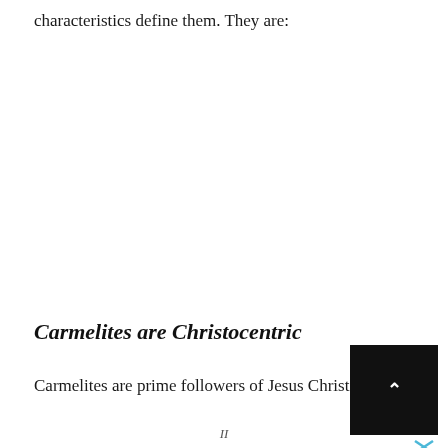characteristics define them. They are:
Carmelites are Christocentric
Carmelites are prime followers of Jesus Christ
[Figure (other): Advertisement box with upward arrow on dark background, with close (X) button below]
II